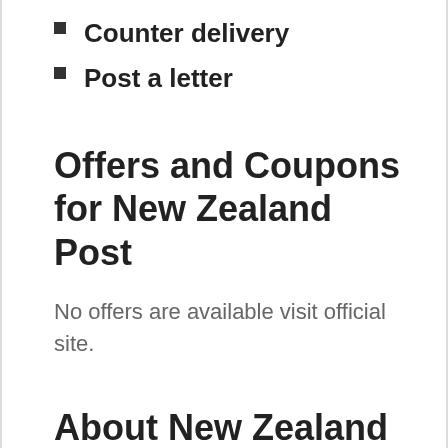Counter delivery
Post a letter
Offers and Coupons for New Zealand Post
No offers are available visit official site.
About New Zealand Post NZ
New Zealand Post is about delivery – delivering parcels, packages and mail for businesses and consumers.